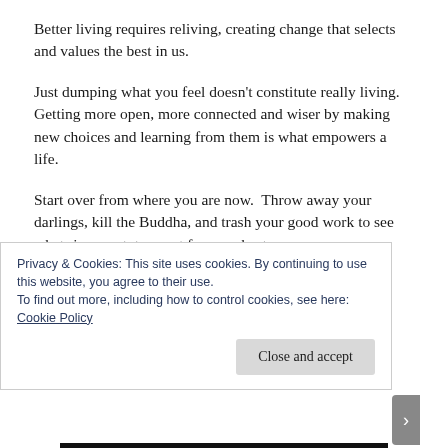Better living requires reliving, creating change that selects and values the best in us.
Just dumping what you feel doesn't constitute really living.   Getting more open, more connected and wiser by making new choices and learning from them is what empowers a life.
Start over from where you are now.  Throw away your darlings, kill the Buddha, and trash your good work to see what rises next, to quest for your best.
Privacy & Cookies: This site uses cookies. By continuing to use this website, you agree to their use.
To find out more, including how to control cookies, see here: Cookie Policy